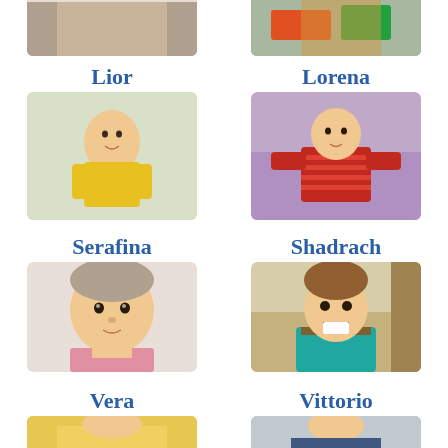[Figure (photo): Partial top photo of a child, left column]
[Figure (photo): Partial top photo of a child in colorful clothing, right column]
Lior
Lorena
[Figure (photo): Photo of Lior, a baby in yellow outfit lying on a patterned blanket]
[Figure (photo): Photo of Lorena, a child in red striped outfit lying on purple bedding]
Serafina
Shadrach
[Figure (photo): Photo of Serafina, a young child with short hair in pink clothing]
[Figure (photo): Photo of Shadrach, a child in teal outfit seated in a chair, smiling]
Vera
Vittorio
[Figure (photo): Partial bottom photo of Vera in yellow clothing]
[Figure (photo): Partial bottom photo of Vittorio]